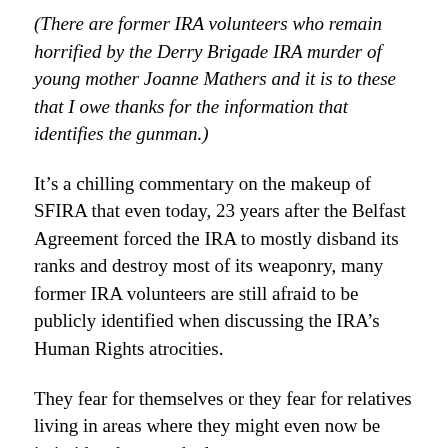(There are former IRA volunteers who remain horrified by the Derry Brigade IRA murder of young mother Joanne Mathers and it is to these that I owe thanks for the information that identifies the gunman.)
It’s a chilling commentary on the makeup of SFIRA that even today, 23 years after the Belfast Agreement forced the IRA to mostly disband its ranks and destroy most of its weaponry, many former IRA volunteers are still afraid to be publicly identified when discussing the IRA’s Human Rights atrocities.
They fear for themselves or they fear for relatives living in areas where they might even now be intimidated or attacked.